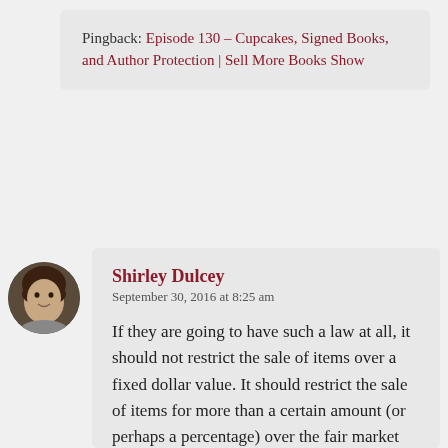Pingback: Episode 130 – Cupcakes, Signed Books, and Author Protection | Sell More Books Show
Shirley Dulcey
September 30, 2016 at 8:25 am

If they are going to have such a law at all, it should not restrict the sale of items over a fixed dollar value. It should restrict the sale of items for more than a certain amount (or perhaps a percentage) over the fair market value of the item without the signature. In other words, you would still be able to